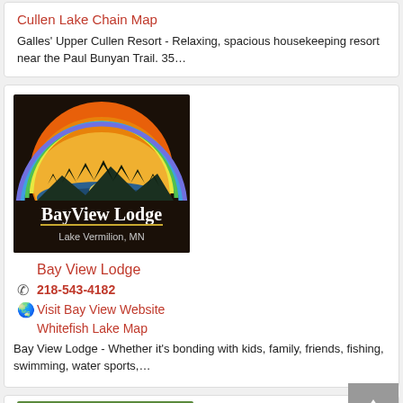Cullen Lake Chain Map
Galles' Upper Cullen Resort - Relaxing, spacious housekeeping resort near the Paul Bunyan Trail. 35…
[Figure (logo): BayView Lodge Lake Vermilion, MN logo — dark brown background with a rainbow arch over a sunset lake scene with pine tree silhouettes]
Bay View Lodge
218-543-4182
Visit Bay View Website
Whitefish Lake Map
Bay View Lodge - Whether it's bonding with kids, family, friends, fishing, swimming, water sports,…